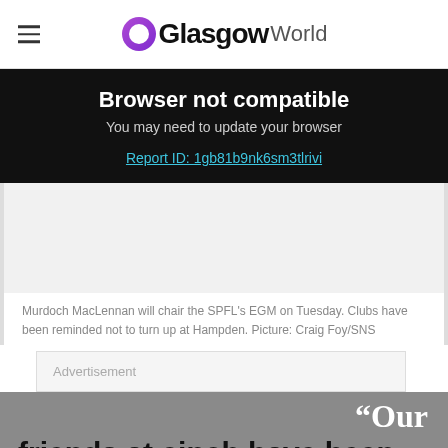GlasgowWorld
Browser not compatible
You may need to update your browser
Report ID: 1gb81b9nk6sm3tlrivi
[Figure (photo): Empty gray image placeholder area]
Murdoch MacLennan will chair the SPFL's EGM on Tuesday. Clubs have been reminded not to turn up at Hampden. Picture: Craig Foy/SNS
Advertisement
“Our friends at cinch have been brilliant to deal